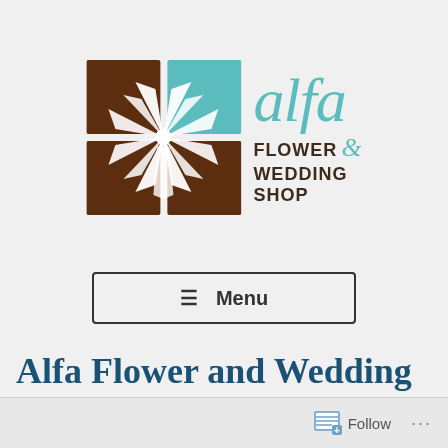[Figure (logo): Alfa Flower and Wedding Shop logo with brown and teal square grid graphic containing a white floral/feather design, with 'alfa' in teal italic serif font and 'FLOWER & WEDDING SHOP' in brown bold sans-serif text]
≡ Menu
Alfa Flower and Wedding